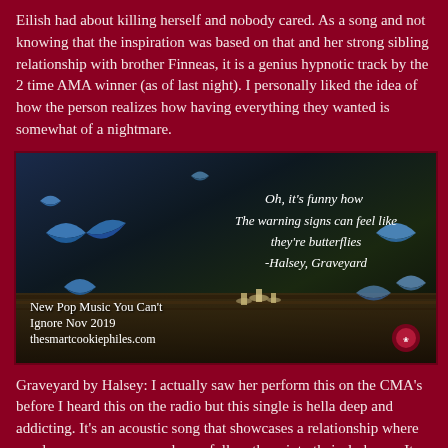Eilish had about killing herself and nobody cared. As a song and not knowing that the inspiration was based on that and her strong sibling relationship with brother Finneas, it is a genius hypnotic track by the 2 time AMA winner (as of last night). I personally liked the idea of how the person realizes how having everything they wanted is somewhat of a nightmare.
[Figure (photo): Dark nature photo with blue butterflies and mushrooms on a log, overlaid with a quote: 'Oh, it's funny how The warning signs can feel like they're butterflies -Halsey, Graveyard' and text 'New Pop Music You Can't Ignore Nov 2019 thesmartcookiephiles.com']
Graveyard by Halsey: I actually saw her perform this on the CMA's before I heard this on the radio but this single is hella deep and addicting. It's an acoustic song that showcases a relationship where you love someone so much you follow them into their darkness. It